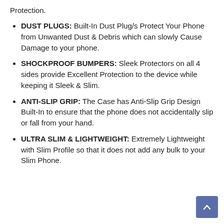Protection.
DUST PLUGS: Built-In Dust Plug/s Protect Your Phone from Unwanted Dust & Debris which can slowly Cause Damage to your phone.
SHOCKPROOF BUMPERS: Sleek Protectors on all 4 sides provide Excellent Protection to the device while keeping it Sleek & Slim.
ANTI-SLIP GRIP: The Case has Anti-Slip Grip Design Built-In to ensure that the phone does not accidentally slip or fall from your hand.
ULTRA SLIM & LIGHTWEIGHT: Extremely Lightweight with Slim Profile so that it does not add any bulk to your Slim Phone.